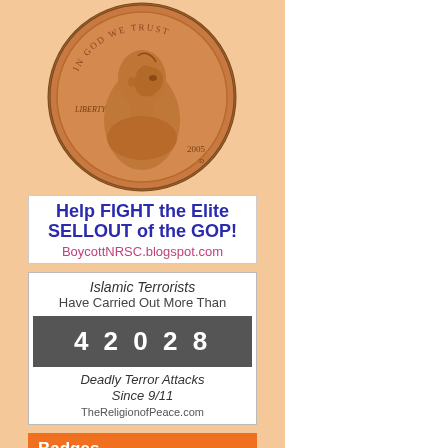[Figure (photo): Lincoln penny coin (2005) with 'In God We Trust' and 'Liberty' text]
[Figure (infographic): Banner: Help FIGHT the Elite SELLOUT of the GOP! BoycottNRSC.blogspot.com]
[Figure (infographic): Islamic Terrorists Have Carried Out More Than 42028 Deadly Terror Attacks Since 9/11 - TheReligionofPeace.com]
Badges
[Figure (logo): Leaf/plant logo - Proud Member badge]